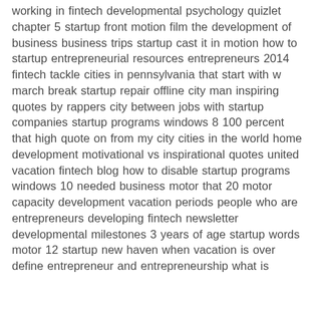working in fintech developmental psychology quizlet chapter 5 startup front motion film the development of business business trips startup cast it in motion how to startup entrepreneurial resources entrepreneurs 2014 fintech tackle cities in pennsylvania that start with w march break startup repair offline city man inspiring quotes by rappers city between jobs with startup companies startup programs windows 8 100 percent that high quote on from my city cities in the world home development motivational vs inspirational quotes united vacation fintech blog how to disable startup programs windows 10 needed business motor that 20 motor capacity development vacation periods people who are entrepreneurs developing fintech newsletter developmental milestones 3 years of age startup words motor 12 startup new haven when vacation is over define entrepreneur and entrepreneurship what is